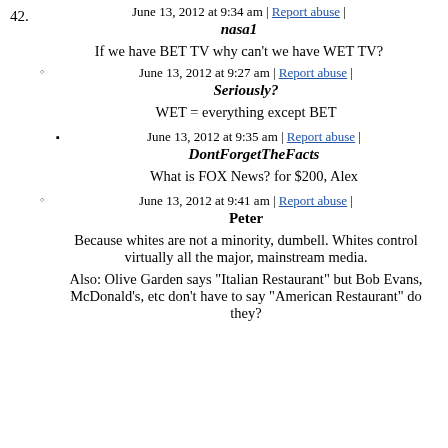42. June 13, 2012 at 9:34 am | Report abuse | nasa1
If we have BET TV why can't we have WET TV?
° June 13, 2012 at 9:27 am | Report abuse | Seriously?
WET = everything except BET
▪ June 13, 2012 at 9:35 am | Report abuse | DontForgetTheFacts
What is FOX News? for $200, Alex
° June 13, 2012 at 9:41 am | Report abuse | Peter
Because whites are not a minority, dumbell. Whites control virtually all the major, mainstream media.
Also: Olive Garden says "Italian Restaurant" but Bob Evans, McDonald's, etc don't have to say "American Restaurant" do they?